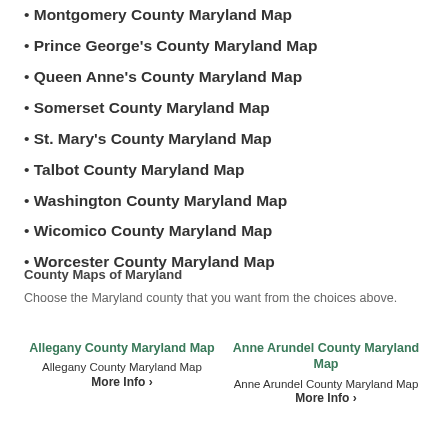• Montgomery County Maryland Map
• Prince George's County Maryland Map
• Queen Anne's County Maryland Map
• Somerset County Maryland Map
• St. Mary's County Maryland Map
• Talbot County Maryland Map
• Washington County Maryland Map
• Wicomico County Maryland Map
• Worcester County Maryland Map
County Maps of Maryland
Choose the Maryland county that you want from the choices above.
Allegany County Maryland Map
Allegany County Maryland Map
More Info ›
Anne Arundel County Maryland Map
Anne Arundel County Maryland Map
More Info ›